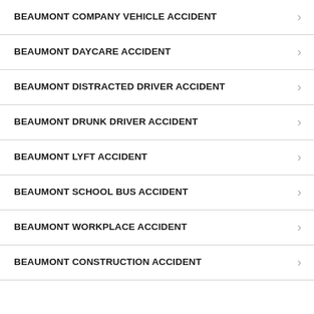BEAUMONT COMPANY VEHICLE ACCIDENT
BEAUMONT DAYCARE ACCIDENT
BEAUMONT DISTRACTED DRIVER ACCIDENT
BEAUMONT DRUNK DRIVER ACCIDENT
BEAUMONT LYFT ACCIDENT
BEAUMONT SCHOOL BUS ACCIDENT
BEAUMONT WORKPLACE ACCIDENT
BEAUMONT CONSTRUCTION ACCIDENT